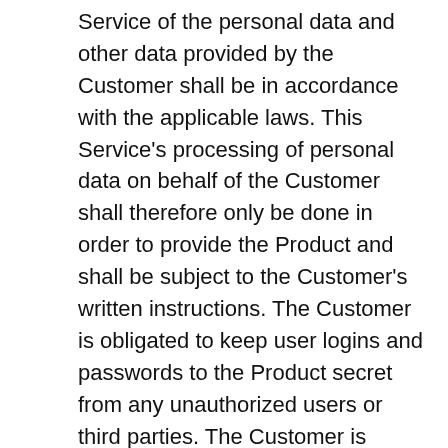Service of the personal data and other data provided by the Customer shall be in accordance with the applicable laws. This Service's processing of personal data on behalf of the Customer shall therefore only be done in order to provide the Product and shall be subject to the Customer's written instructions. The Customer is obligated to keep user logins and passwords to the Product secret from any unauthorized users or third parties. The Customer is obligated to ensure that the personal data provided by the Customer and used in the Product is processed by the Customer in accordance with all applicable laws. The Customer is obligated to ensure that the Customer's data provided in the Product, including personal data, do not violate any third party intellectual property rights and/or any applicable legislation. This Service is entitled to delete any data that in the sole discretion of This Service constitutes a breach of the aforesaid